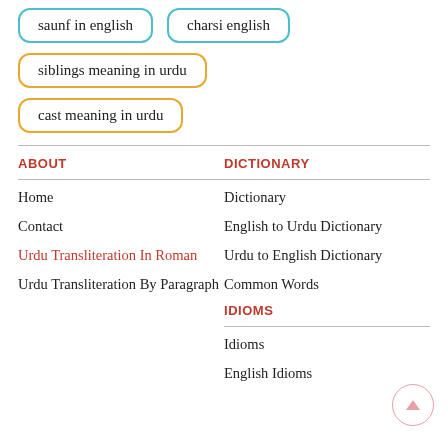saunf in english
charsi english
siblings meaning in urdu
cast meaning in urdu
ABOUT
Home
Contact
Urdu Transliteration In Roman
Urdu Transliteration By Paragraph
DICTIONARY
Dictionary
English to Urdu Dictionary
Urdu to English Dictionary
Common Words
IDIOMS
Idioms
English Idioms